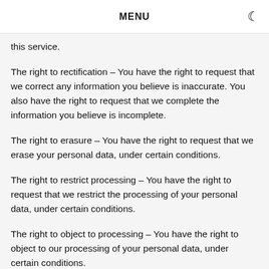MENU
this service.
The right to rectification – You have the right to request that we correct any information you believe is inaccurate. You also have the right to request that we complete the information you believe is incomplete.
The right to erasure – You have the right to request that we erase your personal data, under certain conditions.
The right to restrict processing – You have the right to request that we restrict the processing of your personal data, under certain conditions.
The right to object to processing – You have the right to object to our processing of your personal data, under certain conditions.